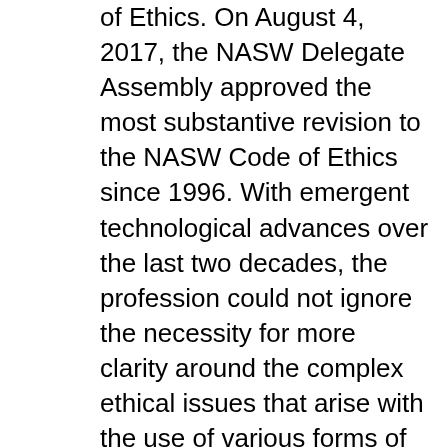of Ethics. On August 4, 2017, the NASW Delegate Assembly approved the most substantive revision to the NASW Code of Ethics since 1996. With emergent technological advances over the last two decades, the profession could not ignore the necessity for more clarity around the complex ethical issues that arise with the use of various forms of technology. The NASW Code of Ethics contains 19 new
Code of Ethics Page 3 ( revised version 2017) The following sections constitute the "Ayesa Code of Ethics", understood as a commitment to carry out business at Ayesa in a responsible manner and achieving a sustainable business